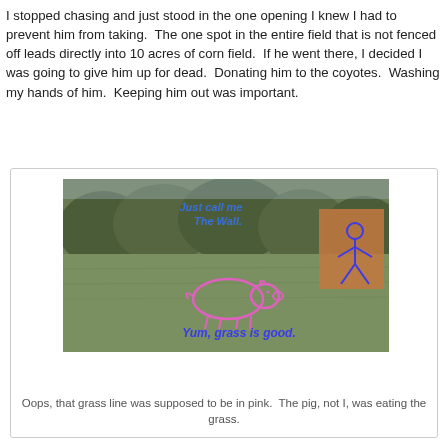I stopped chasing and just stood in the one opening I knew I had to prevent him from taking.  The one spot in the entire field that is not fenced off leads directly into 10 acres of corn field.  If he went there, I decided I was going to give him up for dead.  Donating him to the coyotes.  Washing my hands of him.  Keeping him out was important.
[Figure (photo): Photo of an open grass field with trees in the background. Overlaid with blue italic text 'Just call me The Wall.' and a blue stick figure drawing on the right side. A pink outline drawing of a pig is in the center of the field with blue bold italic text 'Yum, grass is good.' below it.]
Oops, that grass line was supposed to be in pink.  The pig, not I, was eating the grass.